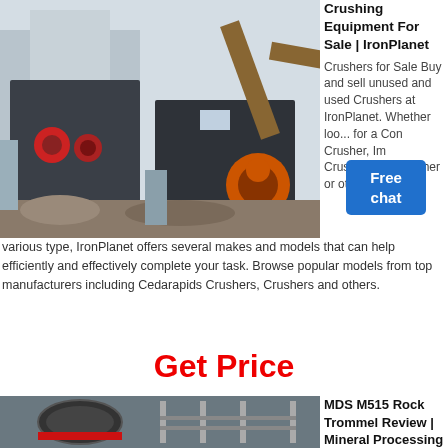[Figure (photo): Industrial crushing equipment / jaw crushers at a construction or mining site with machinery and excavator in background]
Crushing Equipment For Sale | IronPlanet
Crushers for Sale Buy and sell unused and used Crushers at IronPlanet. Whether looking for a Cone Crusher, Impact Crusher, Jaw Crusher or other various type, IronPlanet offers several makes and models that can help efficiently and effectively complete your task. Browse popular models from top manufacturers including Cedarapids Crushers, Crushers and others.
Get Price
[Figure (photo): Rock trommel or drum screen industrial mineral processing equipment]
MDS M515 Rock Trommel Review | Mineral Processing